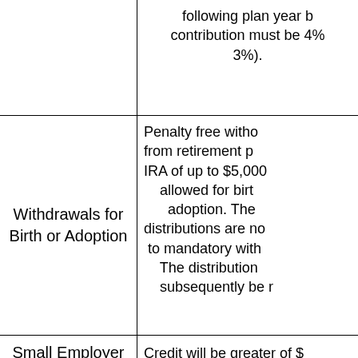|  | following plan year b contribution must be 4% 3%). |
| Withdrawals for Birth or Adoption | Penalty free witho from retirement p IRA of up to $5,000 allowed for birt adoption. The distributions are no to mandatory with The distribution subsequently be r |
| Small Employer | Credit will be greater of $ |